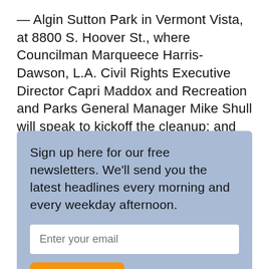— Algin Sutton Park in Vermont Vista, at 8800 S. Hoover St., where Councilman Marqueece Harris-Dawson, L.A. Civil Rights Executive Director Capri Maddox and Recreation and Parks General Manager Mike Shull will speak to kickoff the cleanup; and
Sign up here for our free newsletters. We'll send you the latest headlines every morning and every weekday afternoon.